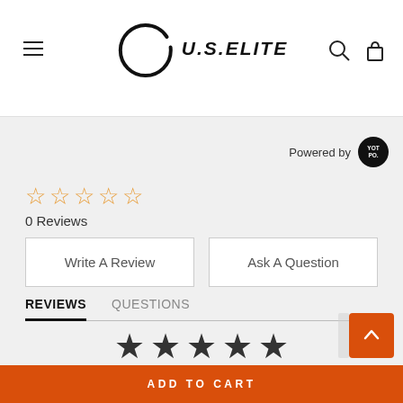[Figure (logo): U.S. Elite logo with circular brush stroke and italic bold text]
Powered by YOTPO
0 Reviews
Write A Review
Ask A Question
REVIEWS   QUESTIONS
[Figure (other): Five dark filled stars in a row at the bottom of the reviews section]
ADD TO CART